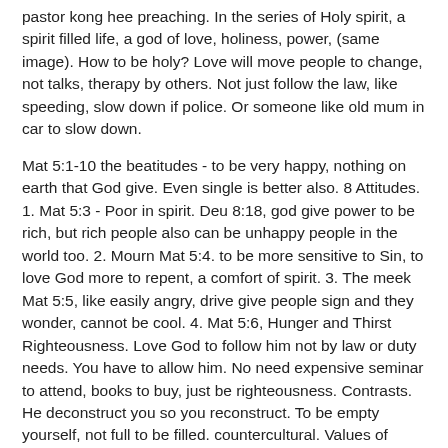pastor kong hee preaching. In the series of Holy spirit, a spirit filled life, a god of love, holiness, power, (same image). How to be holy? Love will move people to change, not talks, therapy by others. Not just follow the law, like speeding, slow down if police. Or someone like old mum in car to slow down.
Mat 5:1-10 the beatitudes - to be very happy, nothing on earth that God give. Even single is better also. 8 Attitudes. 1. Mat 5:3 - Poor in spirit. Deu 8:18, god give power to be rich, but rich people also can be unhappy people in the world too. 2. Mourn Mat 5:4. to be more sensitive to Sin, to love God more to repent, a comfort of spirit. 3. The meek Mat 5:5, like easily angry, drive give people sign and they wonder, cannot be cool. 4. Mat 5:6, Hunger and Thirst Righteousness. Love God to follow him not by law or duty needs. You have to allow him. No need expensive seminar to attend, books to buy, just be righteousness. Contrasts. He deconstruct you so you reconstruct. To be empty yourself, not full to be filled. countercultural. Values of world devalue God. Beauty of Jesus. 4 point as above to see beauty of Jesus. 5. Mat 5:7 Merciful, don't me angry to deal with hard people or situation, to let holy spirit help you. 6. Mat 5:8 pure in heart. 7. Peacemakers Mat 5:9. Like divorce, as she do not love you,